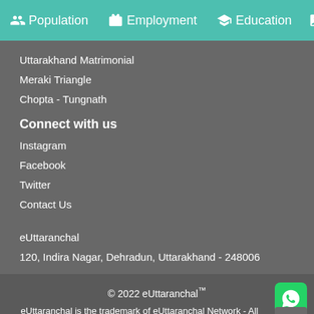Population  Employment  Education  He...
Uttarakhand Matrimonial
Meraki Triangle
Chopta - Tungnath
Connect with us
Instagram
Facebook
Twitter
Contact Us
eUttaranchal
120, Indira Nagar, Dehradun, Uttarakhand - 248006
© 2022 eUttaranchal™
eUttaranchal is the trademark of eUttaranchal Network - All rights reserved. www.euttaranchal.com